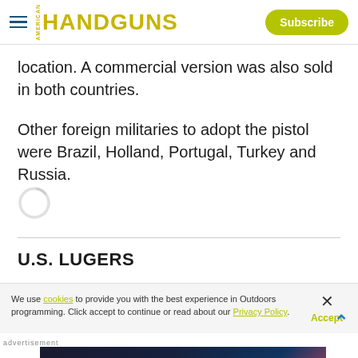HANDGUNS | Subscribe
location. A commercial version was also sold in both countries.
Other foreign militaries to adopt the pistol were Brazil, Holland, Portugal, Turkey and Russia.
U.S. LUGERS
We use cookies to provide you with the best experience in Outdoors programming. Click accept to continue or read about our Privacy Policy.
Advertisement
[Figure (photo): Federal High Overall advertisement banner with dark background and orange fire imagery]